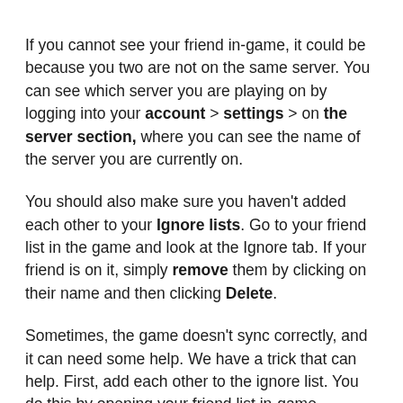If you cannot see your friend in-game, it could be because you two are not on the same server. You can see which server you are playing on by logging into your account > settings > on the server section, where you can see the name of the server you are currently on.
You should also make sure you haven't added each other to your Ignore lists. Go to your friend list in the game and look at the Ignore tab. If your friend is on it, simply remove them by clicking on their name and then clicking Delete.
Sometimes, the game doesn't sync correctly, and it can need some help. We have a trick that can help. First, add each other to the ignore list. You do this by opening your friend list in-game, selecting the Ignore tab, writing in your friend's in-game name, and then clicking add. Once your friend is on the ignore list, you can remove them by following the above steps. Give the game a few seconds to sync, and